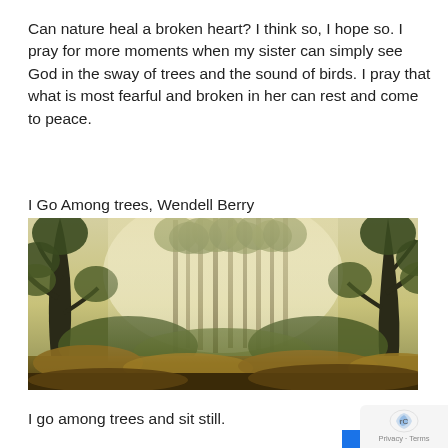Can nature heal a broken heart? I think so, I hope so. I pray for more moments when my sister can simply see God in the sway of trees and the sound of birds. I pray that what is most fearful and broken in her can rest and come to peace.
I Go Among trees, Wendell Berry
[Figure (photo): A misty forest of tall trees with golden-green foliage and light filtering through the canopy, with golden undergrowth on the forest floor]
I go among trees and sit still.